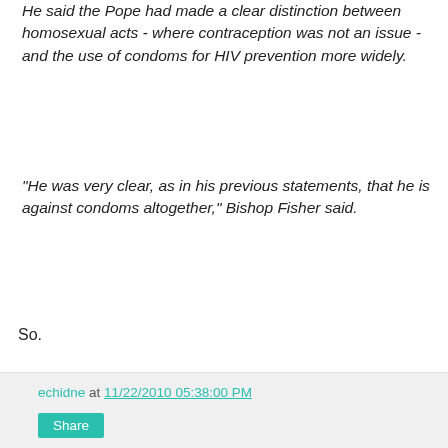He said the Pope had made a clear distinction between homosexual acts - where contraception was not an issue - and the use of condoms for HIV prevention more widely.
"He was very clear, as in his previous statements, that he is against condoms altogether," Bishop Fisher said.
So.
echidne at 11/22/2010 05:38:00 PM
Share
How The UN Works
It doesn't work any better than its member countries. An